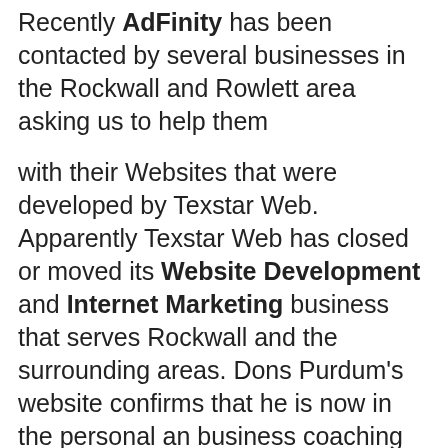Recently AdFinity has been contacted by several businesses in the Rockwall and Rowlett area asking us to help them
with their Websites that were developed by Texstar Web. Apparently Texstar Web has closed or moved its Website Development and Internet Marketing business that serves Rockwall and the surrounding areas. Dons Purdum's website confirms that he is now in the personal an business coaching business.
If your company or business has a website that was created by Texstar Web you are in an unfortunate position right now. Who do